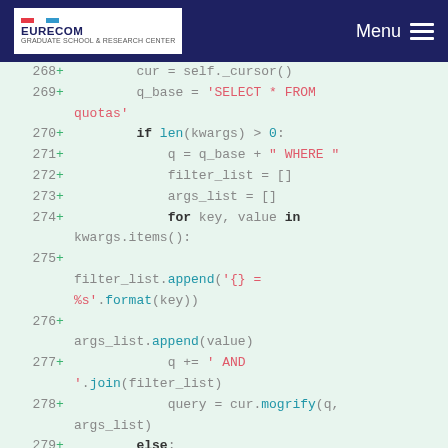EURECOM  Menu
[Figure (screenshot): Code diff viewer showing Python code lines 268-280, with green plus signs indicating added lines. Code shows SQL query construction with kwargs filtering logic.]